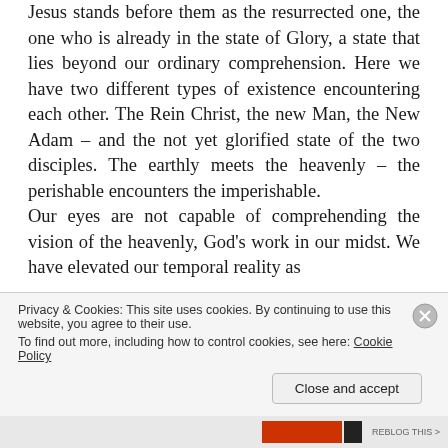Jesus stands before them as the resurrected one, the one who is already in the state of Glory, a state that lies beyond our ordinary comprehension. Here we have two different types of existence encountering each other. The Rein Christ, the new Man, the New Adam – and the not yet glorified state of the two disciples. The earthly meets the heavenly – the perishable encounters the imperishable.
Our eyes are not capable of comprehending the vision of the heavenly, God's work in our midst. We have elevated our temporal reality as
Privacy & Cookies: This site uses cookies. By continuing to use this website, you agree to their use.
To find out more, including how to control cookies, see here: Cookie Policy
Close and accept